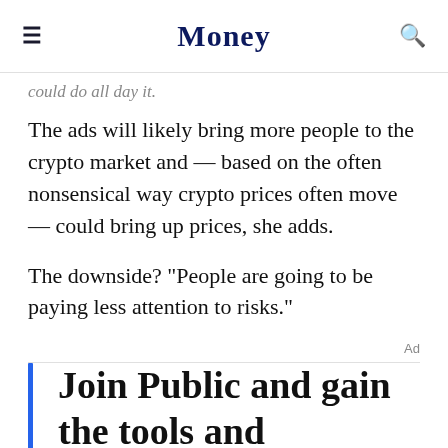Money
could do all day it.
The ads will likely bring more people to the crypto market and — based on the often nonsensical way crypto prices often move — could bring up prices, she adds.
The downside? "People are going to be paying less attention to risks."
Ad
Join Public and gain the tools and confidence to start trading